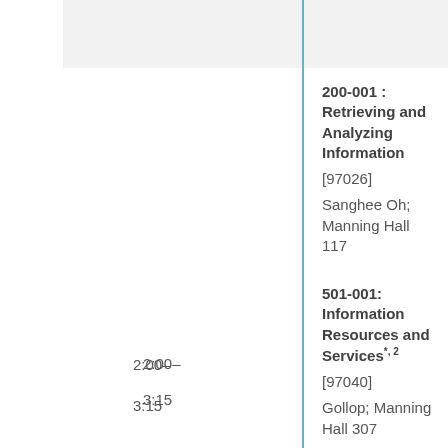200-001 : Retrieving and Analyzing Information
[97026]
Sanghee Oh; Manning Hall 117
501-001: Information Resources and Services*, 2
[97040]
Gollop; Manning Hall 307
2:00–
3:15
521-001: Organization of